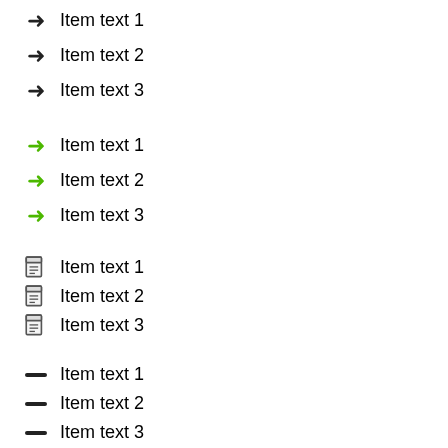Item text 1
Item text 2
Item text 3
Item text 1
Item text 2
Item text 3
Item text 1
Item text 2
Item text 3
Item text 1
Item text 2
Item text 3
Item text 1
Item text 2
Item text 3